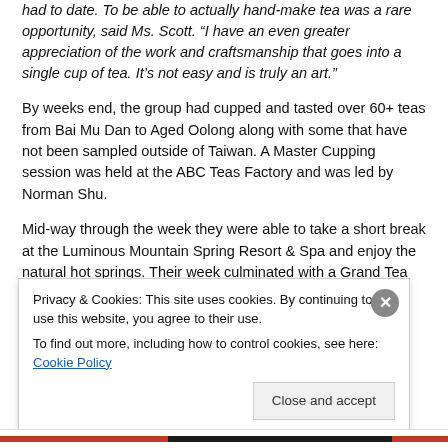had to date. To be able to actually hand-make tea was a rare opportunity, said Ms. Scott. “I have an even greater appreciation of the work and craftsmanship that goes into a single cup of tea. It’s not easy and is truly an art.”
By weeks end, the group had cupped and tasted over 60+ teas from Bai Mu Dan to Aged Oolong along with some that have not been sampled outside of Taiwan. A Master Cupping session was held at the ABC Teas Factory and was led by Norman Shu.
Mid-way through the week they were able to take a short break at the Luminous Mountain Spring Resort & Spa and enjoy the natural hot springs. Their week culminated with a Grand Tea Tasting at TTMA, a 10-course farewell dinner and closing...
Privacy & Cookies: This site uses cookies. By continuing to use this website, you agree to their use.
To find out more, including how to control cookies, see here: Cookie Policy